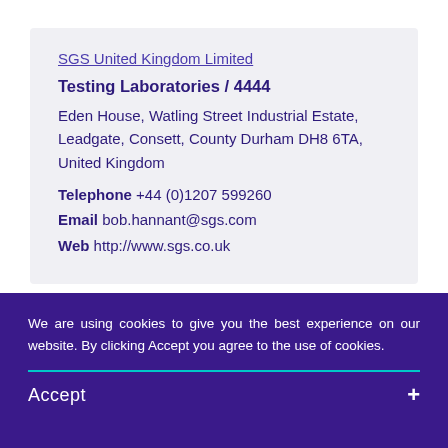SGS United Kingdom Limited
Testing Laboratories / 4444
Eden House, Watling Street Industrial Estate, Leadgate, Consett, County Durham DH8 6TA, United Kingdom
Telephone +44 (0)1207 599260
Email bob.hannant@sgs.com
Web http://www.sgs.co.uk
Advanced Material Technology UK (a division
We are using cookies to give you the best experience on our website. By clicking Accept you agree to the use of cookies.
Accept